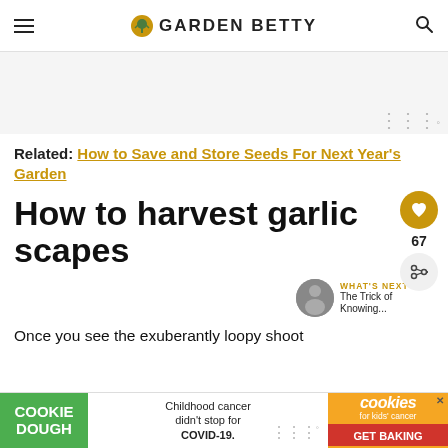GARDEN BETTY
[Figure (other): Gray advertisement banner area]
Related: How to Save and Store Seeds For Next Year's Garden
How to harvest garlic scapes
Once you see the exuberantly loopy shoot fo... you
[Figure (other): Cookie Dough and cookies for kids cancer advertisement banner at bottom]